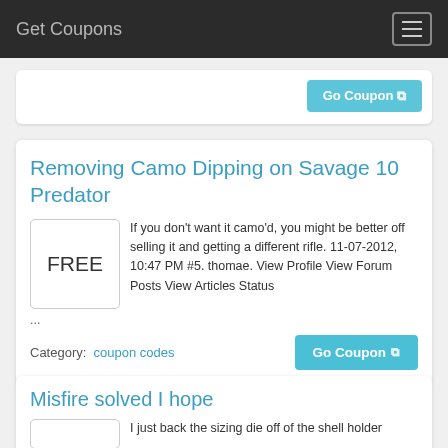Get Coupons
Go Coupon
Removing Camo Dipping on Savage 10 Predator
If you don't want it camo'd, you might be better off selling it and getting a different rifle. 11-07-2012, 10:47 PM #5. thomae. View Profile View Forum Posts View Articles Status ...
Category:  coupon codes
Go Coupon
Misfire solved I hope
I just back the sizing die off of the shell holder